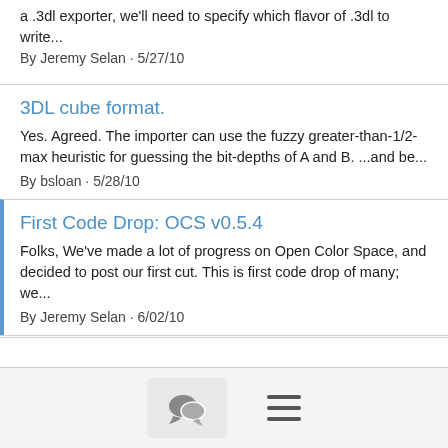a .3dl exporter, we'll need to specify which flavor of .3dl to write...
By Jeremy Selan · 5/27/10
3DL cube format.
Yes. Agreed. The importer can use the fuzzy greater-than-1/2-max heuristic for guessing the bit-depths of A and B. ...and be...
By bsloan · 5/28/10
First Code Drop: OCS v0.5.4
Folks, We've made a lot of progress on Open Color Space, and decided to post our first cut. This is first code drop of many; we...
By Jeremy Selan · 6/02/10
OCS v0.5.5 posted
This one will actually build on other people's machines... please see INSTALL file for instructions on how to build the Nuke...
By Jeremy Selan · 6/03/10